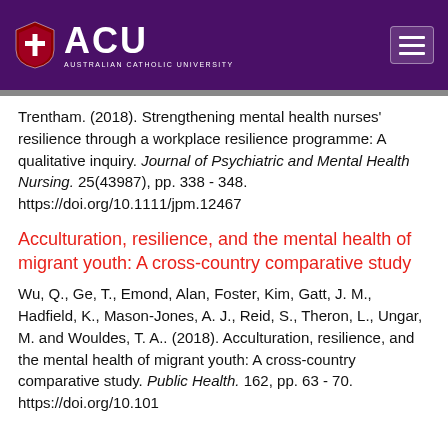ACU — Australian Catholic University
Trentham. (2018). Strengthening mental health nurses' resilience through a workplace resilience programme: A qualitative inquiry. Journal of Psychiatric and Mental Health Nursing. 25(43987), pp. 338 - 348. https://doi.org/10.1111/jpm.12467
Acculturation, resilience, and the mental health of migrant youth: A cross-country comparative study
Wu, Q., Ge, T., Emond, Alan, Foster, Kim, Gatt, J. M., Hadfield, K., Mason-Jones, A. J., Reid, S., Theron, L., Ungar, M. and Wouldes, T. A.. (2018). Acculturation, resilience, and the mental health of migrant youth: A cross-country comparative study. Public Health. 162, pp. 63 - 70. https://doi.org/10.101...